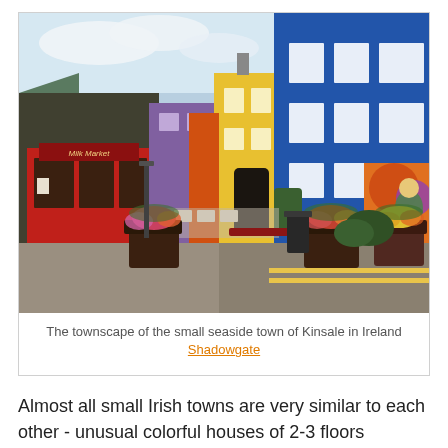[Figure (photo): Street scene of the small seaside town of Kinsale in Ireland, showing colorful buildings in blue, yellow, orange, and purple, with a red-fronted shop called Milk Market on the left, outdoor cafe seating, flower planters, and a mural on the right wall.]
The townscape of the small seaside town of Kinsale in Ireland
Shadowgate
Almost all small Irish towns are very similar to each other - unusual colorful houses of 2-3 floors alternate with small